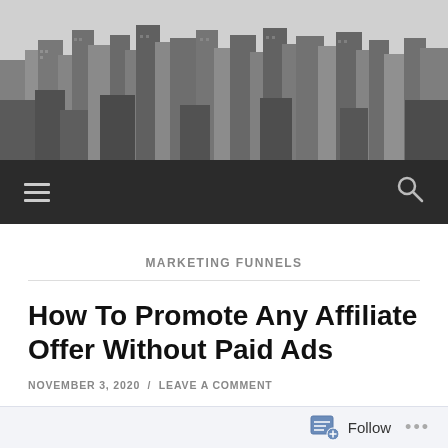[Figure (photo): Black and white aerial cityscape photo showing tall skyscrapers and city buildings]
Navigation bar with hamburger menu icon and search icon on dark background
MARKETING FUNNELS
How To Promote Any Affiliate Offer Without Paid Ads
NOVEMBER 3, 2020  /  LEAVE A COMMENT
Follow